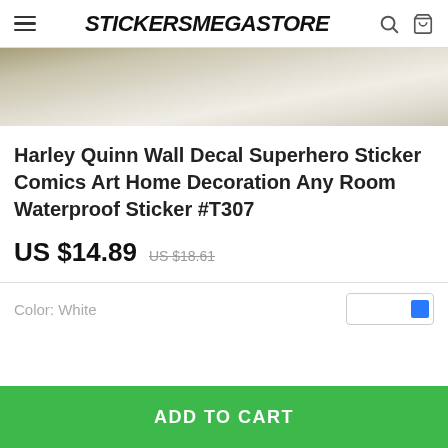STICKERSMEGASTORE
[Figure (photo): Partial product lifestyle photo showing a room with curtains and a pillow in neutral tones]
Harley Quinn Wall Decal Superhero Sticker Comics Art Home Decoration Any Room Waterproof Sticker #T307
US $14.89  US $18.61
Color: White
ADD TO CART